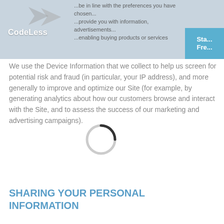[Figure (screenshot): Website header banner for CodeLess with logo, navigation text overlay, and a blue call-to-action button partially visible on the right. A loading spinner circle overlays the content area.]
We use the Device Information that we collect to help us screen for potential risk and fraud (in particular, your IP address), and more generally to improve and optimize our Site (for example, by generating analytics about how our customers browse and interact with the Site, and to assess the success of our marketing and advertising campaigns).
SHARING YOUR PERSONAL INFORMATION
We share your Personal Information with third parties to help us use your Personal Information, as described above.  For example, we use Google Analytics to help us understand how our customers use the Site. You can read more about how Google uses your Personal Information